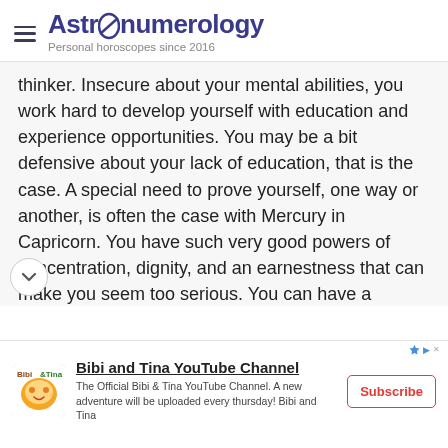Astronumerology — Personal horoscopes since 2016
thinker. Insecure about your mental abilities, you work hard to develop yourself with education and experience opportunities. You may be a bit defensive about your lack of education, that is the case. A special need to prove yourself, one way or another, is often the case with Mercury in Capricorn. You have such very good powers of concentration, dignity, and an earnestness that can make you seem too serious. You can have a tendency toward moodiness and sulking, and you may have to work at showing any spirit of optimism. This placement of Mercury, especially if your Sun is also in Capricorn, produces one who is ry quiet. Even if your Sun is in the more
[Figure (infographic): Advertisement banner for Bibi and Tina YouTube Channel with logo, title, description and subscribe button]